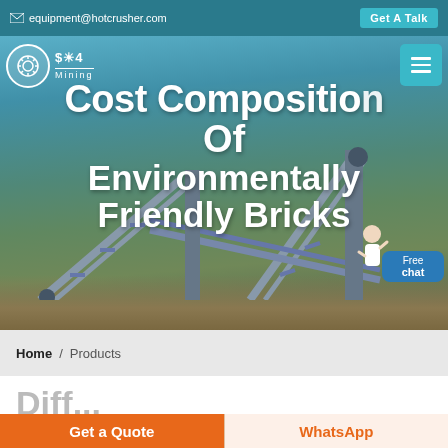equipment@hotcrusher.com  Get A Talk
[Figure (screenshot): Hero banner image with industrial mining/crushing equipment in the background, teal/blue sky, conveyor structures. Overlaid with website logo (star/gear icon with 'Mining' text), hamburger menu button, title text 'Cost Composition Of Environmentally Friendly Bricks', and a free chat widget with avatar.]
Cost Composition Of Environmentally Friendly Bricks
Home / Products
Diff...
Get a Quote
WhatsApp